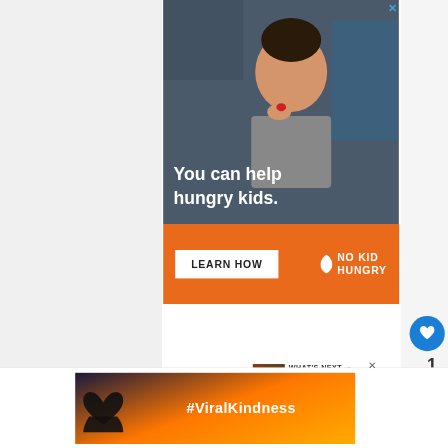[Figure (screenshot): No Kid Hungry advertisement showing a young boy eating, with text 'You can help hungry kids.' and an orange bar at the bottom with 'LEARN HOW' button and NO KID HUNGRY logo. A close (X) button is at top right. Social media icons (heart with count '1' and share button) appear on the right side.]
[Figure (screenshot): Partially visible 'What's Next' overlay with a thumbnail image of Cordyline leaves and text 'WHAT'S NEXT → Cordyline Leaves...']
Once flowers emerge from the pla add any more nitrogen fertilizer. This will
[Figure (screenshot): #ViralKindness advertisement showing hands making a heart shape with a colorful sky background, with a close (X) button.]